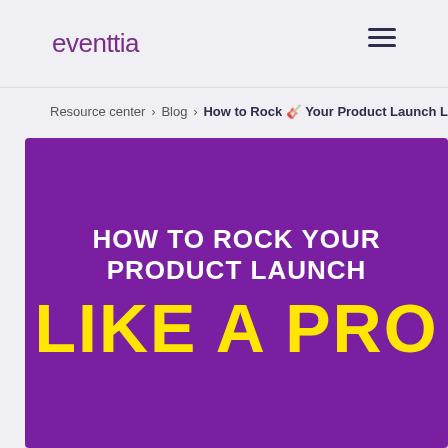eventtia
Resource center > Blog > How to Rock 🎸 Your Product Launch Like a P
[Figure (illustration): Purple banner with white bold text 'HOW TO ROCK YOUR PRODUCT LAUNCH' and large yellow bold text 'LIKE A PRO' below it on a deep purple background.]